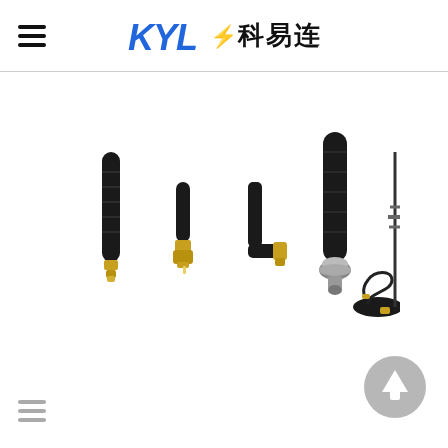KYL 科易连
[Figure (photo): Collection of various RF antennas: a straight rubber duck antenna with gold SMA connector, a short stub antenna with SMA male connector, an elbow/right-angle SMA antenna, a larger rubber duck antenna with silver/chrome base connector, and a magnetic mount antenna with cable and SMA connector. Also a tall thin whip antenna with spring base on the far right.]
[Figure (other): Gray circular scroll-to-top button with white upward arrow icon, positioned at bottom right.]